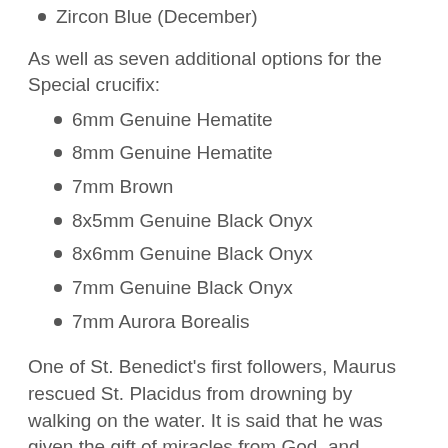Zircon Blue (December)
As well as seven additional options for the Special crucifix:
6mm Genuine Hematite
8mm Genuine Hematite
7mm Brown
8x5mm Genuine Black Onyx
8x6mm Genuine Black Onyx
7mm Genuine Black Onyx
7mm Aurora Borealis
One of St. Benedict's first followers, Maurus rescued St. Placidus from drowning by walking on the water. It is said that he was given the gift of miracles from God, and several legends grew from this. He was made abbot of Monte